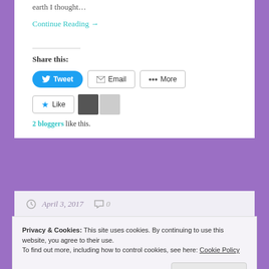earth I thought…
Continue Reading →
Share this:
Tweet  Email  More
Like
2 bloggers like this.
April 3, 2017  0
Privacy & Cookies: This site uses cookies. By continuing to use this website, you agree to their use.
To find out more, including how to control cookies, see here: Cookie Policy
Close and accept